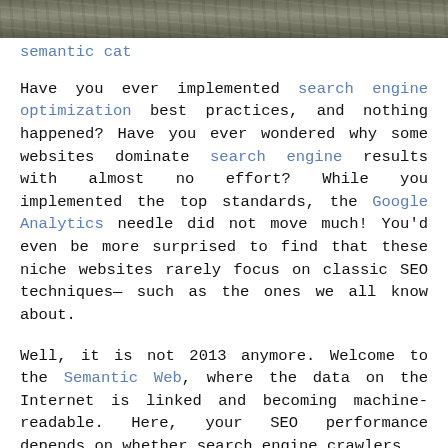[Figure (photo): Top portion of a photo showing rocks or a natural/outdoor scene, cropped at the top of the page.]
semantic cat
Have you ever implemented search engine optimization best practices, and nothing happened? Have you ever wondered why some websites dominate search engine results with almost no effort? While you implemented the top standards, the Google Analytics needle did not move much! You'd even be more surprised to find that these niche websites rarely focus on classic SEO techniques— such as the ones we all know about.
Well, it is not 2013 anymore. Welcome to the Semantic Web, where the data on the Internet is linked and becoming machine-readable. Here, your SEO performance depends on whether search engine crawlers